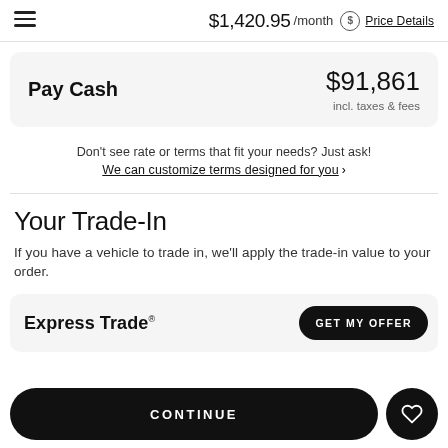$1,420.95 /month Price Details
| Pay Cash | $91,861
incl. taxes & fees |
Don't see rate or terms that fit your needs? Just ask!
We can customize terms designed for you ›
Your Trade-In
If you have a vehicle to trade in, we'll apply the trade-in value to your order.
Express Trade® GET MY OFFER
CONTINUE